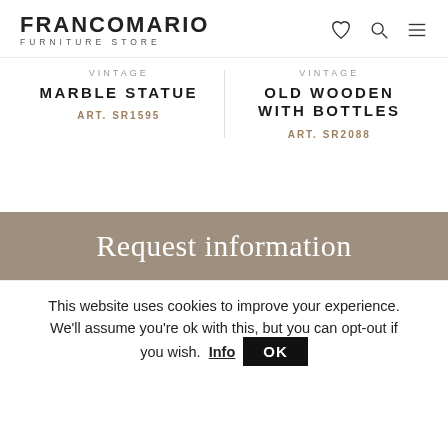FRANCOMARIO FURNITURE STORE
VINTAGE
MARBLE STATUE
ART. SR1595
VINTAGE
OLD WOODEN WITH BOTTLES
ART. SR2088
Request information
This website uses cookies to improve your experience. We'll assume you're ok with this, but you can opt-out if you wish. Info OK